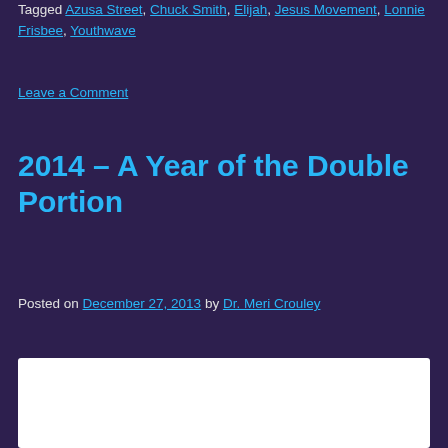Tagged Azusa Street, Chuck Smith, Elijah, Jesus Movement, Lonnie Frisbee, Youthwave
Leave a Comment
2014 – A Year of the Double Portion
Posted on December 27, 2013 by Dr. Meri Crouley
[Figure (photo): White image box at bottom of page]